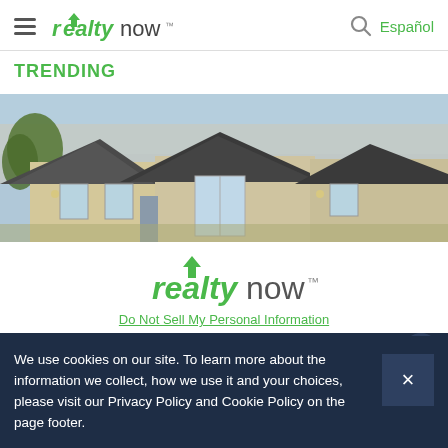realtynow™  Español
TRENDING
[Figure (photo): Exterior photo of mobile/manufactured homes with grey metal roofs and beige vinyl siding, blue sky in background]
[Figure (logo): realtynow logo centered on white background with green house icon above the 'a']
Do Not Sell My Personal Information
We use cookies on our site. To learn more about the information we collect, how we use it and your choices, please visit our Privacy Policy and Cookie Policy on the page footer.